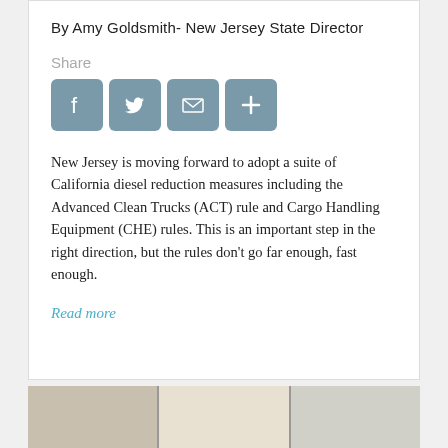By Amy Goldsmith- New Jersey State Director
Share
[Figure (other): Social share buttons: Facebook, Twitter, Email, More]
New Jersey is moving forward to adopt a suite of California diesel reduction measures including the Advanced Clean Trucks (ACT) rule and Cargo Handling Equipment (CHE) rules. This is an important step in the right direction, but the rules don't go far enough, fast enough.
Read more
[Figure (photo): Partial photo at bottom of page, appears to show an indoor scene with equipment or vehicles]